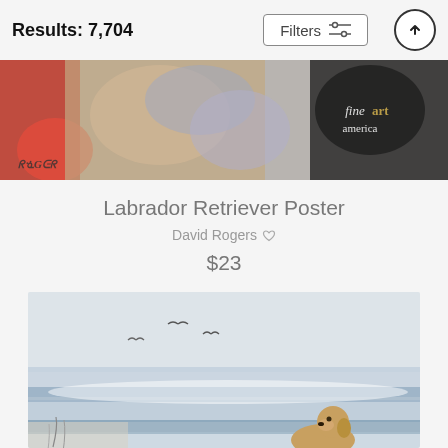Results: 7,704
[Figure (screenshot): Filters button with sliders icon and up-arrow circle button]
[Figure (photo): Cropped watercolor painting of Labrador Retriever dogs in red, tan, and black tones with Fine Art America watermark]
Labrador Retriever Poster
David Rogers ♡
$23
[Figure (photo): Watercolor painting of a beach scene with seagulls flying and a yellow Labrador Retriever sitting in the foreground with ocean waves behind]